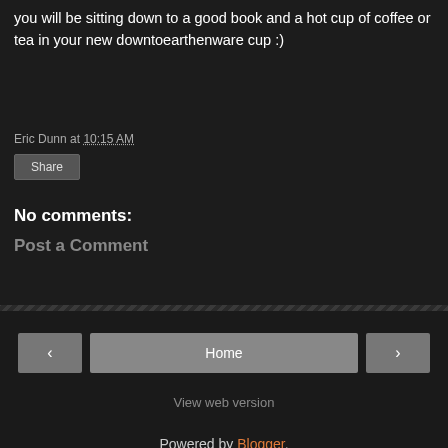you will be sitting down to a good book and a hot cup of coffee or tea in your new downtoearthenware cup :)
Eric Dunn at 10:15 AM
Share
No comments:
Post a Comment
< Home > View web version Powered by Blogger.